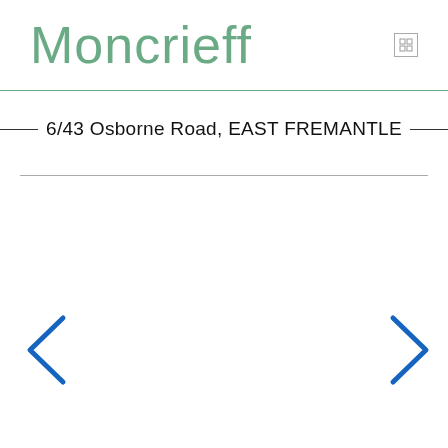Moncrieff
6/43 Osborne Road, EAST FREMANTLE